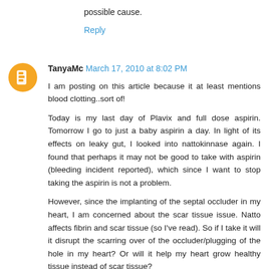possible cause.
Reply
TanyaMc March 17, 2010 at 8:02 PM
I am posting on this article because it at least mentions blood clotting..sort of!

Today is my last day of Plavix and full dose aspirin. Tomorrow I go to just a baby aspirin a day. In light of its effects on leaky gut, I looked into nattokinnase again. I found that perhaps it may not be good to take with aspirin (bleeding incident reported), which since I want to stop taking the aspirin is not a problem.

However, since the implanting of the septal occluder in my heart, I am concerned about the scar tissue issue. Natto affects fibrin and scar tissue (so I've read). So if I take it will it disrupt the scarring over of the occluder/plugging of the hole in my heart? Or will it help my heart grow healthy tissue instead of scar tissue?